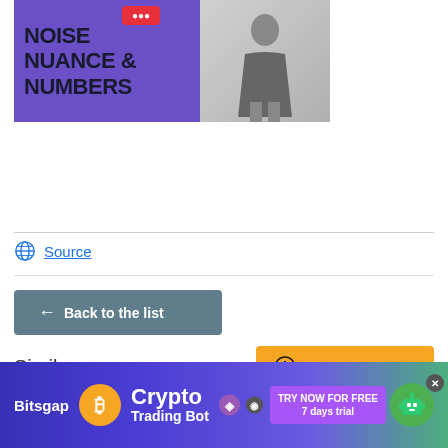[Figure (illustration): Banner image with purple background showing bold text 'NOISE NUANCE & NUMBERS' with a red badge and a person silhouette on the right]
Source
← Back to the list
Similar news
⊕ SUGGEST NEWS
Analytics
[Figure (illustration): Bitsgap Crypto Trading Bot advertisement banner with purple/green background, coin icons, robot character, and 'TRY NOW FOR FREE 7 days trial' button]